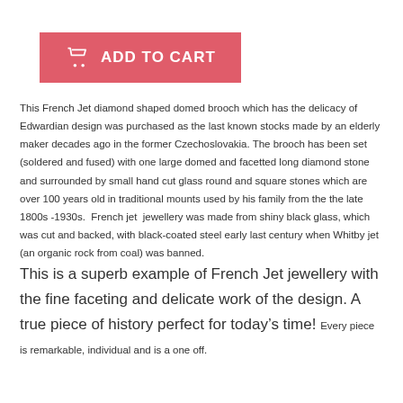[Figure (other): Red 'Add to Cart' button with shopping cart icon]
This French Jet diamond shaped domed brooch which has the delicacy of Edwardian design was purchased as the last known stocks made by an elderly maker decades ago in the former Czechoslovakia. The brooch has been set (soldered and fused) with one large domed and facetted long diamond stone and surrounded by small hand cut glass round and square stones which are over 100 years old in traditional mounts used by his family from the the late 1800s -1930s.  French jet  jewellery was made from shiny black glass, which was cut and backed, with black-coated steel early last century when Whitby jet (an organic rock from coal) was banned.
This is a superb example of French Jet jewellery with the fine faceting and delicate work of the design. A true piece of history perfect for today's time! Every piece is remarkable, individual and is a one off.